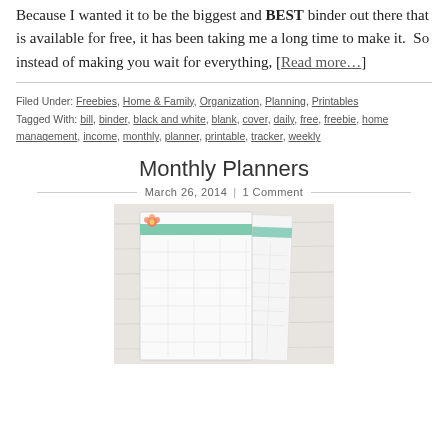Because I wanted it to be the biggest and BEST binder out there that is available for free, it has been taking me a long time to make it.  So instead of making you wait for everything, [Read more…]
Filed Under: Freebies, Home & Family, Organization, Planning, Printables
Tagged With: bill, binder, black and white, blank, cover, daily, free, freebie, home management, income, monthly, planner, printable, tracker, weekly
Monthly Planners
March 26, 2014  |  1 Comment
[Figure (photo): Two monthly planner pages with mint/teal header stripe and a small flower decoration, photographed on a light wood surface.]